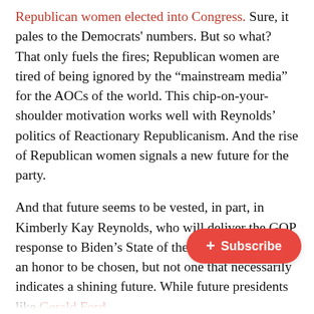Republican women elected into Congress. Sure, it pales to the Democrats' numbers. But so what? That only fuels the fires; Republican women are tired of being ignored by the “mainstream media” for the AOCs of the world. This chip-on-your-shoulder motivation works well with Reynolds’ politics of Reactionary Republicanism. And the rise of Republican women signals a new future for the party.
And that future seems to be vested, in part, in Kimberly Kay Reynolds, who will deliver the GOP response to Biden’s State of the Union tonight. It’s an honor to be chosen, but not one that necessarily indicates a shining future. While future presidents like Gerald Ford, George H. W. Bush, Bill Clinton, and delivered responses, so many of the d have faded away into obscurity.
[Figure (other): Red subscribe button with plus icon and text '+ Subscribe']